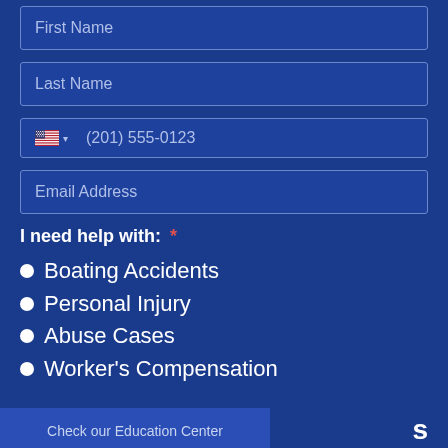First Name
Last Name
(201) 555-0123
Email Address
I need help with: *
Boating Accidents
Personal Injury
Abuse Cases
Worker's Compensation
Check our Education Center